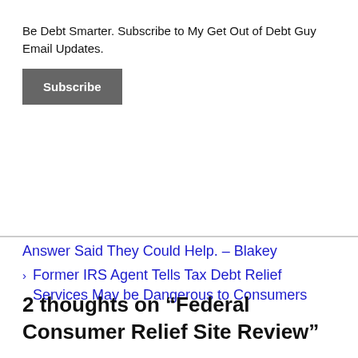Be Debt Smarter. Subscribe to My Get Out of Debt Guy Email Updates.
Subscribe
Answer Said They Could Help. – Blakey
Former IRS Agent Tells Tax Debt Relief Services May be Dangerous to Consumers
2 thoughts on “Federal Consumer Relief Site Review”